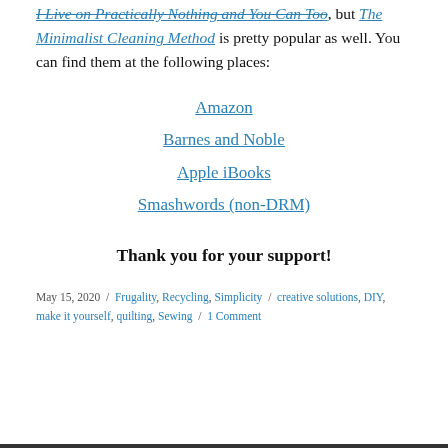I Live on Practically Nothing and You Can Too, but The Minimalist Cleaning Method is pretty popular as well. You can find them at the following places:
Amazon
Barnes and Noble
Apple iBooks
Smashwords (non-DRM)
Thank you for your support!
May 15, 2020 / Frugality, Recycling, Simplicity / creative solutions, DIY, make it yourself, quilting, Sewing / 1 Comment